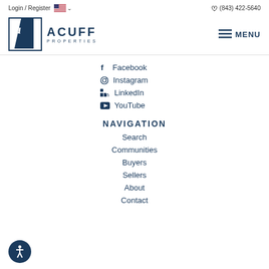Login / Register  (843) 422-5640
[Figure (logo): Acuff Properties logo: blue square with stylized AP letter mark, company name ACUFF PROPERTIES]
MENU
Facebook
Instagram
LinkedIn
YouTube
NAVIGATION
Search
Communities
Buyers
Sellers
About
Contact